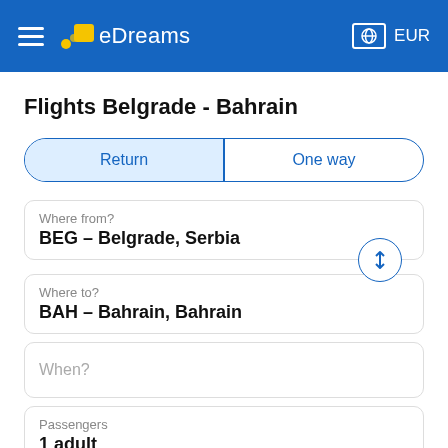eDreams  EUR
Flights Belgrade - Bahrain
Return | One way
Where from?
BEG – Belgrade, Serbia
Where to?
BAH – Bahrain, Bahrain
When?
Passengers
1 adult